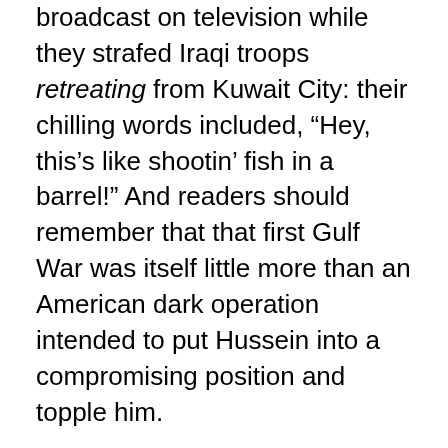broadcast on television while they strafed Iraqi troops retreating from Kuwait City: their chilling words included, “Hey, this’s like shootin’ fish in a barrel!” And readers should remember that that first Gulf War was itself little more than an American dark operation intended to put Hussein into a compromising position and topple him.
Deeply discrediting the whole confused concept of ethical war are not just the many crimes committed in its name but the many greater omissions. Genocide has become one of the most abused and misused terms of our time, someone ignorantly using it every time a group of people is killed anywhere, but we have had several authentic genocides since World War II, and I think we can all agree if ever there could be a case for ethical war, it would be the case of genocide. But it is precisely in the case of genocide that all the powers simply hide, the United States